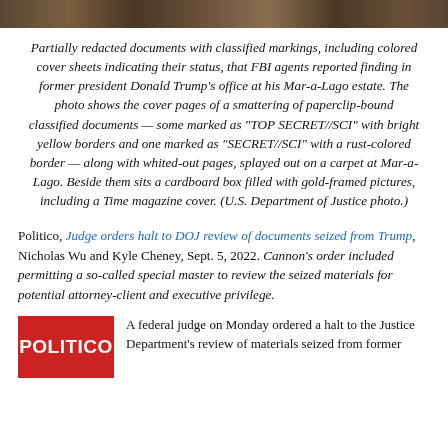[Figure (photo): Top strip showing a partial photograph of classified documents laid out at Mar-a-Lago]
Partially redacted documents with classified markings, including colored cover sheets indicating their status, that FBI agents reported finding in former president Donald Trump's office at his Mar-a-Lago estate. The photo shows the cover pages of a smattering of paperclip-bound classified documents — some marked as "TOP SECRET//SCI" with bright yellow borders and one marked as "SECRET//SCI" with a rust-colored border — along with whited-out pages, splayed out on a carpet at Mar-a-Lago. Beside them sits a cardboard box filled with gold-framed pictures, including a Time magazine cover. (U.S. Department of Justice photo.)
Politico, Judge orders halt to DOJ review of documents seized from Trump, Nicholas Wu and Kyle Cheney, Sept. 5, 2022. Cannon's order included permitting a so-called special master to review the seized materials for potential attorney-client and executive privilege.
[Figure (logo): Politico red logo block]
A federal judge on Monday ordered a halt to the Justice Department's review of materials seized from former